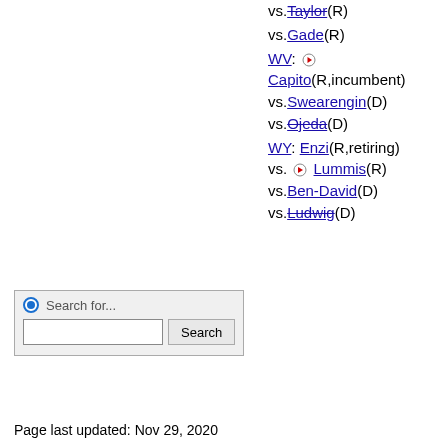vs.Taylor(R)
vs.Gade(R)
WV: Capito(R,incumbent) vs.Swearengin(D) vs.Ojeda(D)
WY: Enzi(R,retiring) vs. Lummis(R) vs.Ben-David(D) vs.Ludwig(D)
Search for...
Page last updated: Nov 29, 2020